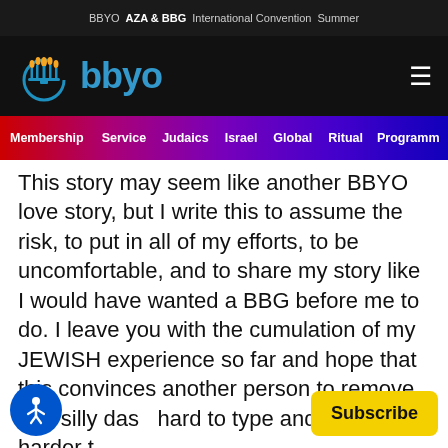BBYO  AZA & BBG  International Convention  Summer
[Figure (logo): BBYO logo with menorah icon and teal 'bbyo' wordmark, and hamburger menu icon on the right]
Membership  Service  Judaics  Israel  Global  Ritual  Programm...
This story may seem like another BBYO love story, but I write this to assume the risk, to put in all of my efforts, to be uncomfortable, and to share my story like I would have wanted a BBG before me to do. I leave you with the cumulation of my JEWISH experience so far and hope that this convinces another person to remove that silly das... hard to type and even harder to...